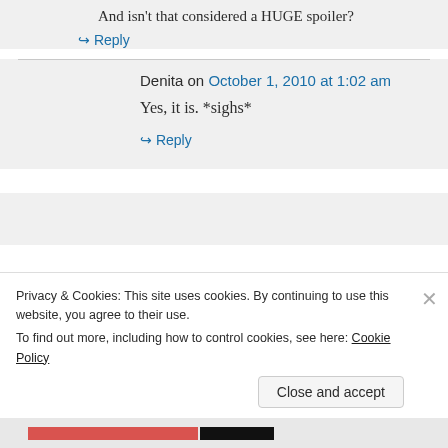And isn't that considered a HUGE spoiler?
↳ Reply
Denita on October 1, 2010 at 1:02 am
Yes, it is. *sighs*
↳ Reply
Privacy & Cookies: This site uses cookies. By continuing to use this website, you agree to their use.
To find out more, including how to control cookies, see here: Cookie Policy
Close and accept